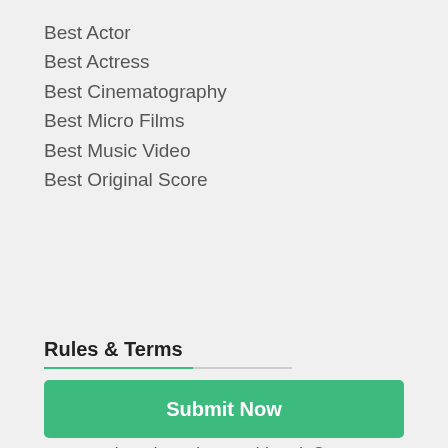Best Actor
Best Actress
Best Cinematography
Best Micro Films
Best Music Video
Best Original Score
Rules & Terms
Each submission must be accompanied by a submission fee paid in full and a working screener in order to be considered. Once we have all necessary materials, the submission will be marked “In Consideration”. It is the submitter’s responsibility to make sure that all submission requirements are met. If your film has not been listed “In Consideration” 7 business days after submission, please
Submit Now